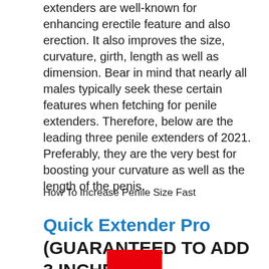extenders are well-known for enhancing erectile feature and also erection. It also improves the size, curvature, girth, length as well as dimension. Bear in mind that nearly all males typically seek these certain features when fetching for penile extenders. Therefore, below are the leading three penile extenders of 2021. Preferably, they are the very best for boosting your curvature as well as the length of the penis.
How To Increase Penile Size Fast
Quick Extender Pro (GUARANTEED TO ADD 3 INCHES)
[Figure (other): Red button/rectangle partially visible at bottom of page]